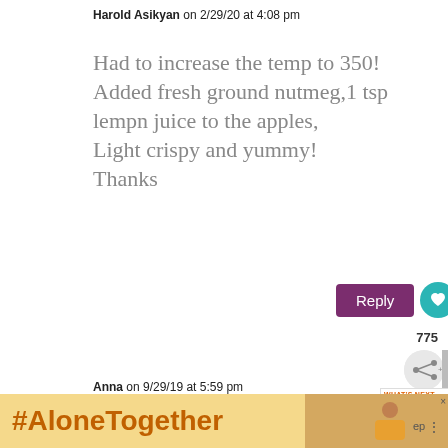Harold Asikyan on 2/29/20 at 4:08 pm
Had to increase the temp to 350! Added fresh ground nutmeg,1 tsp lempn juice to the apples, Light crispy and yummy! Thanks
Reply
775
Anna on 9/29/19 at 5:59 pm
Was the vanilla supposed coming out if the pastry?
WHAT'S NEXT → Apple and Sage Pork...
#AloneTogether